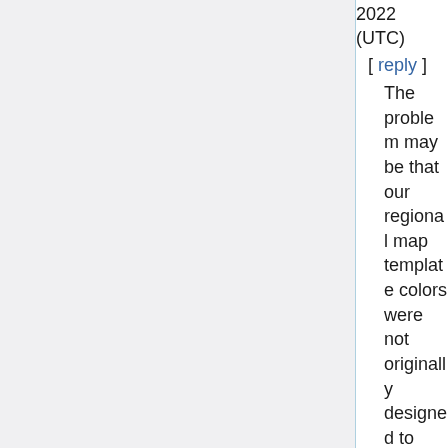2022 (UTC)
[ reply ]
The problem may be that our regional map template colors were not originally designed to accommodate details